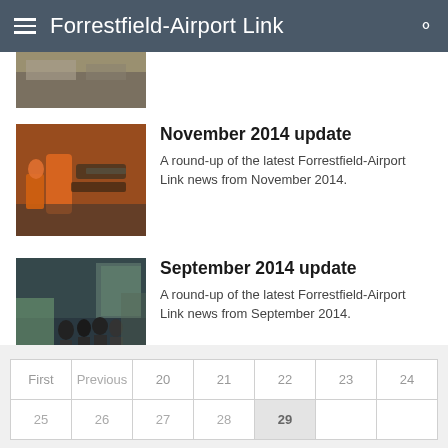Forrestfield-Airport Link
[Figure (photo): Partial view of a construction or outdoor scene at the top of the page, cropped]
November 2014 update
A round-up of the latest Forrestfield-Airport Link news from November 2014.
[Figure (photo): Construction worker in orange high-visibility jacket working with pipes or drilling equipment]
September 2014 update
A round-up of the latest Forrestfield-Airport Link news from September 2014.
[Figure (photo): People standing in an indoor exhibition or public meeting space, looking at display boards]
| First | Previous | 20 | 21 | 22 | 23 | 24 |
| --- | --- | --- | --- | --- | --- | --- |
| 25 | 26 | 27 | 28 | 29 |  |  |